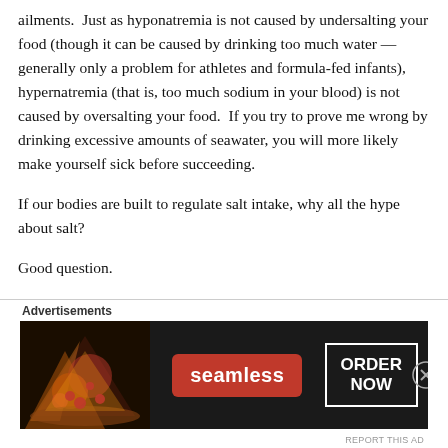ailments.  Just as hyponatremia is not caused by undersalting your food (though it can be caused by drinking too much water — generally only a problem for athletes and formula-fed infants), hypernatremia (that is, too much sodium in your blood) is not caused by oversalting your food.  If you try to prove me wrong by drinking excessive amounts of seawater, you will more likely make yourself sick before succeeding.
If our bodies are built to regulate salt intake, why all the hype about salt?
Good question.
Here's why the FDA has been allowed to get away with using salt as a scapegoat:  because of the association between blood sodium and high blood pressure.   Since high blood pressure is associated with
[Figure (other): Advertisements banner: Seamless pizza advertisement with red Seamless badge and ORDER NOW button on dark background]